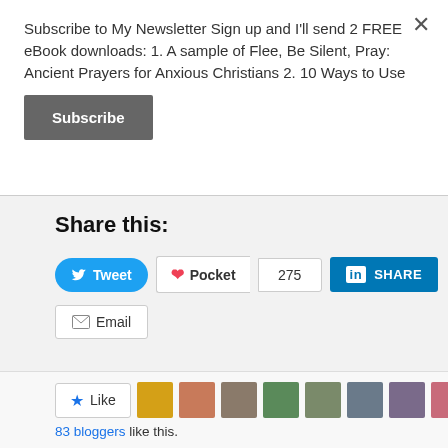Subscribe to My Newsletter Sign up and I'll send 2 FREE eBook downloads: 1. A sample of Flee, Be Silent, Pray: Ancient Prayers for Anxious Christians 2. 10 Ways to Use
Subscribe
Share this:
[Figure (screenshot): Social sharing buttons: Tweet (Twitter), Pocket with count 275, LinkedIn SHARE, Email]
[Figure (screenshot): Like button with star icon, followed by 9 blogger avatar thumbnails]
83 bloggers like this.